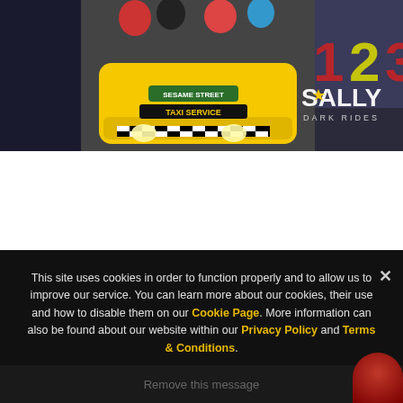[Figure (photo): Sesame Street Taxi Service dark ride by Sally Dark Rides — children riding in a yellow taxi-shaped ride vehicle with 'Sesame Street Taxi Service' branding, numbers 1 2 3 visible in background.]
This site uses cookies in order to function properly and to allow us to improve our service. You can learn more about our cookies, their use and how to disable them on our Cookie Page. More information can also be found about our website within our Privacy Policy and Terms & Conditions.
Remove this message